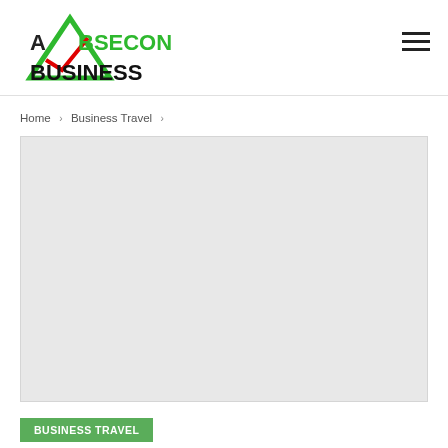Absecon Business
Home > Business Travel >
[Figure (photo): Large light grey placeholder image area for a Business Travel article]
BUSINESS TRAVEL